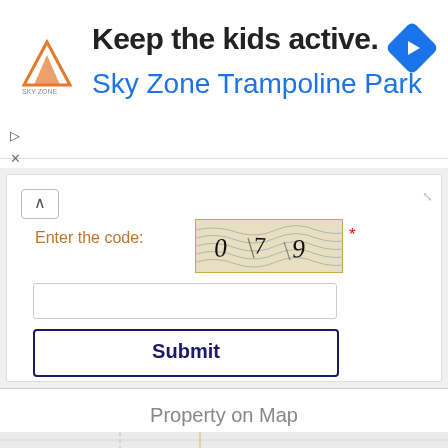[Figure (screenshot): Sky Zone Trampoline Park advertisement banner with logo, text 'Keep the kids active. Sky Zone Trampoline Park', and a blue navigation arrow icon]
[Figure (screenshot): Web form with CAPTCHA showing digits '079', a text input field, and a Submit button]
Property on Map
[Figure (map): Map showing Hanover, Steinbach, and St-Pierre- regions with a blue location pin marker and a dark zoom-in button (+)]